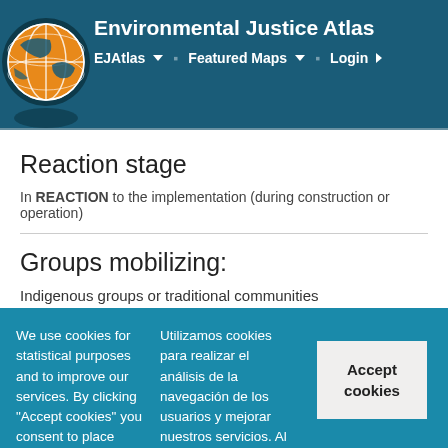Environmental Justice Atlas
Reaction stage
In REACTION to the implementation (during construction or operation)
Groups mobilizing:
Indigenous groups or traditional communities
We use cookies for statistical purposes and to improve our services. By clicking "Accept cookies" you consent to place cookies when visiting the website. For more information, and to find out how to change the configuration of cookies, please read our cookie policy.
Utilizamos cookies para realizar el análisis de la navegación de los usuarios y mejorar nuestros servicios. Al pulsar "Accept cookies" consiente dichas cookies. Puede obtener más información, o bien conocer cómo cambiar la configuración, pulsando en más información.